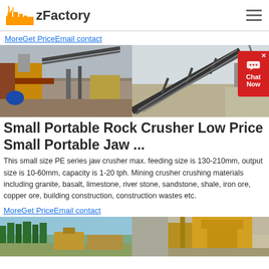zFactory
MoreGet PriceEmail contact
[Figure (photo): Two industrial crusher/conveyor equipment photos side by side]
Small Portable Rock Crusher Low Price Small Portable Jaw ...
This small size PE series jaw crusher max. feeding size is 130-210mm, output size is 10-60mm, capacity is 1-20 tph. Mining crusher crushing materials including granite, basalt, limestone, river stone, sandstone, shale, iron ore, copper ore, building construction, construction wastes etc.
MoreGet PriceEmail contact
[Figure (photo): Two more industrial equipment/crusher photos side by side]